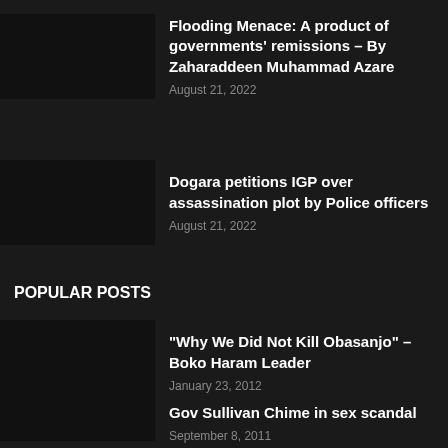Flooding Menace: A product of governments’ remissions – By Zaharaddeen Muhammad Azare
August 21, 2022
Dogara petitions IGP over assassination plot by Police officers
August 21, 2022
POPULAR POSTS
“Why We Did Not Kill Obasanjo” – Boko Haram Leader
January 23, 2012
Gov Sullivan Chime in sex scandal
September 8, 2011